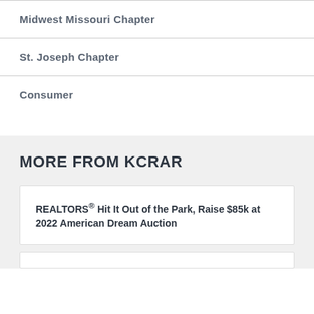Midwest Missouri Chapter
St. Joseph Chapter
Consumer
MORE FROM KCRAR
REALTORS® Hit It Out of the Park, Raise $85k at 2022 American Dream Auction